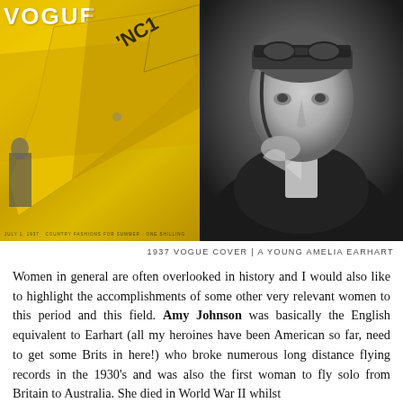[Figure (photo): Two side-by-side images: left is a 1937 Vogue magazine cover featuring a yellow airplane; right is a black and white portrait photograph of a young Amelia Earhart wearing a pilot's cap and goggles pushed up.]
1937 VOGUE COVER  |  A YOUNG AMELIA EARHART
Women in general are often overlooked in history and I would also like to highlight the accomplishments of some other very relevant women to this period and this field. Amy Johnson was basically the English equivalent to Earhart (all my heroines have been American so far, need to get some Brits in here!) who broke numerous long distance flying records in the 1930's and was also the first woman to fly solo from Britain to Australia. She died in World War II whilst